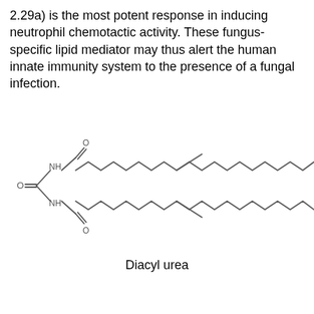2.29a) is the most potent response in inducing neutrophil chemotactic activity. These fungus-specific lipid mediator may thus alert the human innate immunity system to the presence of a fungal infection.
[Figure (schematic): Chemical structure diagram of Diacyl urea: a urea core (O= connected to central carbon with two NH groups) connected to two fatty acid chains with double bonds (zigzag lines representing carbon chains).]
Diacyl urea